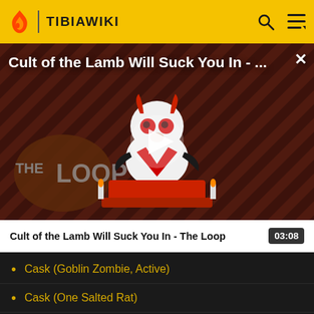TIBIAWIKI
[Figure (screenshot): Video thumbnail for 'Cult of the Lamb Will Suck You In - The Loop' showing a cartoon lamb character on a red throne with diagonal stripe background and 'THE LOOP' text, with a play button overlay]
Cult of the Lamb Will Suck You In - The Loop
03:08
Cask (Goblin Zombie, Active)
Cask (One Salted Rat)
Cask (Three Salted Rats)